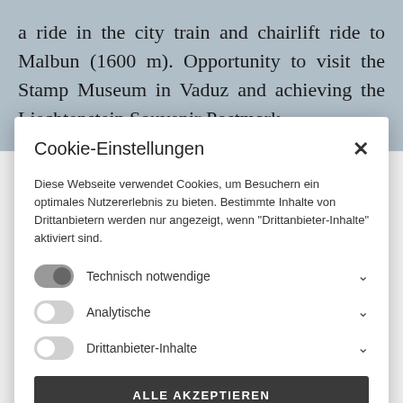a ride in the city train and chairlift ride to Malbun (1600 m). Opportunity to visit the Stamp Museum in Vaduz and achieving the Liechtenstein Souvenir Postmark.
Cookie-Einstellungen
Diese Webseite verwendet Cookies, um Besuchern ein optimales Nutzererlebnis zu bieten. Bestimmte Inhalte von Drittanbietern werden nur angezeigt, wenn "Drittanbieter-Inhalte" aktiviert sind.
Technisch notwendige
Analytische
Drittanbieter-Inhalte
ALLE AKZEPTIEREN
SPEICHERN